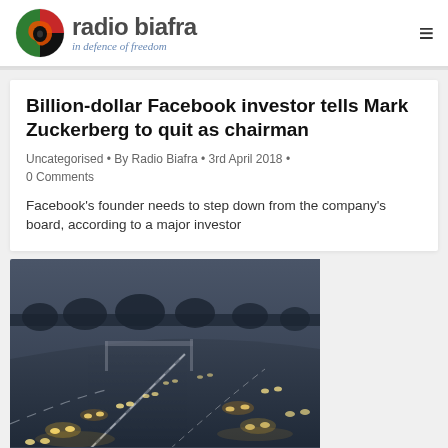radio biafra — in defence of freedom
Billion-dollar Facebook investor tells Mark Zuckerberg to quit as chairman
Uncategorised • By Radio Biafra • 3rd April 2018 • 0 Comments
Facebook's founder needs to step down from the company's board, according to a major investor
[Figure (photo): A highway at dusk/dawn with multiple lanes of traffic, cars with headlights on, shot from an elevated angle showing traffic moving in both directions on a curved motorway.]